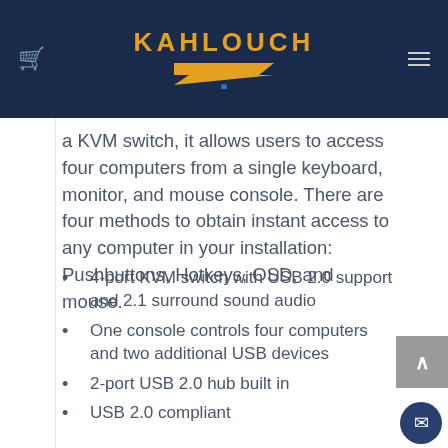KAHLOUCH
The CS17... combined with... a KVM switch, it allows users to access four computers from a single keyboard, monitor, and mouse console. There are four methods to obtain instant access to any computer in your installation: Pushbuttons, Hotkeys, OSD, and mouse.
4-port KVM switch with USB 2.0 support and 2.1 surround sound audio
One console controls four computers and two additional USB devices
2-port USB 2.0 hub built in
USB 2.0 compliant